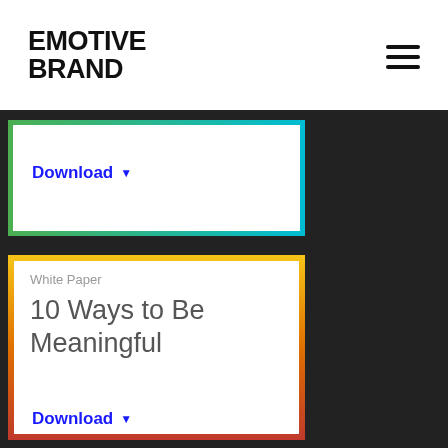EMOTIVE BRAND
Download ▼
White Paper
10 Ways to Be Meaningful
Download ▼